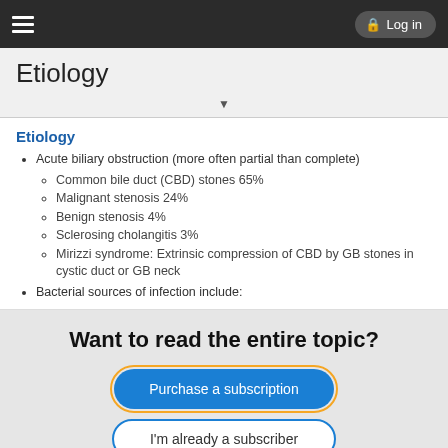Etiology — Log in
Etiology
Etiology
Acute biliary obstruction (more often partial than complete)
Common bile duct (CBD) stones 65%
Malignant stenosis 24%
Benign stenosis 4%
Sclerosing cholangitis 3%
Mirizzi syndrome: Extrinsic compression of CBD by GB stones in cystic duct or GB neck
Bacterial sources of infection include:
Want to read the entire topic?
Purchase a subscription
I'm already a subscriber
Browse sample topics